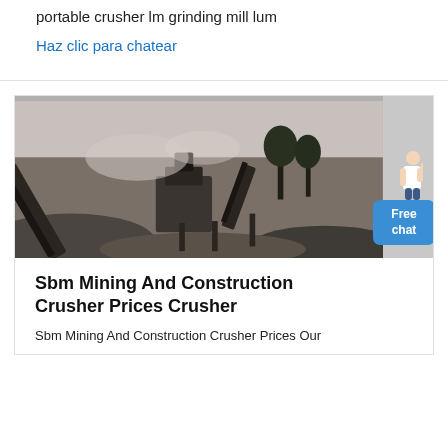portable crusher lm grinding mill lum
Haz clic para chatear
[Figure (photo): Black and white photograph of a mining and construction crusher site with conveyor belts, heavy machinery, dust clouds, and piles of crushed rock/gravel.]
Sbm Mining And Construction Crusher Prices Crusher
Sbm Mining And Construction Crusher Prices Our